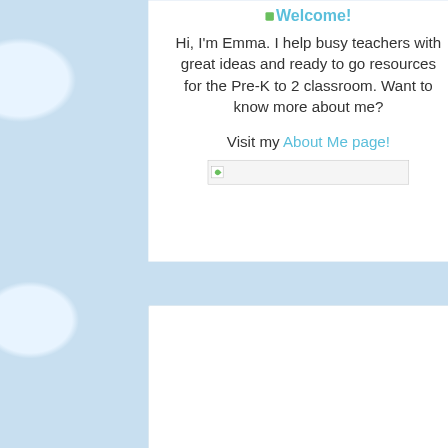Welcome!
Hi, I'm Emma. I help busy teachers with great ideas and ready to go resources for the Pre-K to 2 classroom. Want to know more about me?
Visit my About Me page!
[Figure (other): Broken image placeholder with leaf icon]
[Figure (other): White content card area (bottom, mostly blank)]